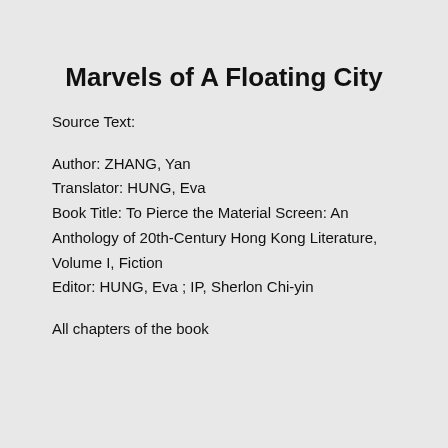Marvels of A Floating City
Source Text:
Author: ZHANG, Yan
Translator: HUNG, Eva
Book Title: To Pierce the Material Screen: An Anthology of 20th-Century Hong Kong Literature, Volume I, Fiction
Editor: HUNG, Eva ; IP, Sherlon Chi-yin
All chapters of the book